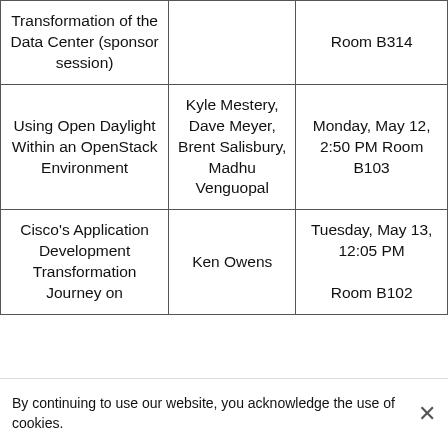| Session | Speaker(s) | Date/Time/Location |
| --- | --- | --- |
| Transformation of the Data Center (sponsor session) |  | Room B314 |
| Using Open Daylight Within an OpenStack Environment | Kyle Mestery, Dave Meyer, Brent Salisbury, Madhu Venguopal | Monday, May 12, 2:50 PM Room B103 |
| Cisco's Application Development Transformation Journey on | Ken Owens | Tuesday, May 13, 12:05 PM Room B102 |
By continuing to use our website, you acknowledge the use of cookies.